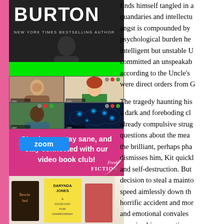[Figure (photo): Book cover showing 'BURTON' text, 'New York Times Bestselling Author' subtitle, person silhouette, dark background with green bar at bottom]
[Figure (screenshot): Video call grid with four participants, world map background, then pink Zoom advertisement banner saying 'Stay home, stay sane, and stay connected with our video book club!' with Zoom logo button and Fresh Fiction branding]
[Figure (photo): Bottom portion showing books including Darynda Jones 'A Good Day for Chardonnay' and other book covers]
finds himself tangled in a quandaries and intellectu angst is compounded by psychological burden he intelligent but unstable U committed an unspeakab according to the Uncle's were direct orders from C
The tragedy haunting his a dark and foreboding cl already compulsive strug questions about the mea the brilliant, perhaps pha dismisses him, Kit quickl and self-destruction. But decision to steal a mainta speed aimlessly down th horrific accident and mor and emotional convales examine his narrention